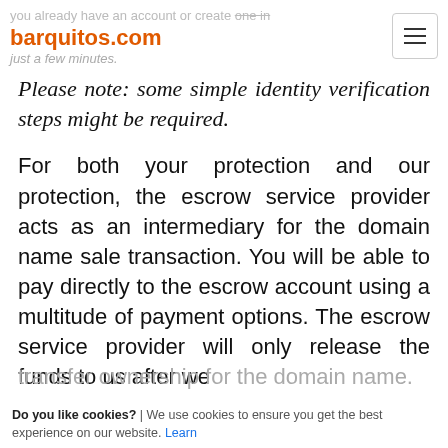you already have an account or create one in barquitos.com just a few minutes.
Please note: some simple identity verification steps might be required.
For both your protection and our protection, the escrow service provider acts as an intermediary for the domain name sale transaction. You will be able to pay directly to the escrow account using a multitude of payment options. The escrow service provider will only release the funds to us after we transfer ownership for the domain name.
Do you like cookies? | We use cookies to ensure you get the best experience on our website. Learn